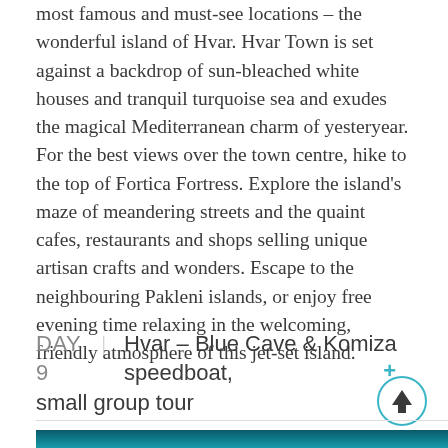most famous and must-see locations – the wonderful island of Hvar. Hvar Town is set against a backdrop of sun-bleached white houses and tranquil turquoise sea and exudes the magical Mediterranean charm of yesteryear. For the best views over the town centre, hike to the top of Fortica Fortress. Explore the island's maze of meandering streets and the quaint cafes, restaurants and shops selling unique artisan crafts and wonders. Escape to the neighbouring Pakleni islands, or enjoy free evening time relaxing in the welcoming, friendly atmosphere of this jet-set island.
DAY 9 | Hvar – Blue Cave & Komiza speedboat, small group tour
[Figure (photo): Dark teal/blue underwater cave photo at bottom of page]